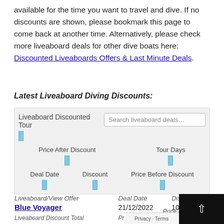available for the time you want to travel and dive. If no discounts are shown, please bookmark this page to come back at another time. Alternatively, please check more liveaboard deals for other dive boats here: Discounted Liveaboards Offers & Last Minute Deals.
Latest Liveaboard Diving Discounts:
[Figure (other): Search/filter widget with fields: Liveaboard Discounted Tour, Search liveaboard deals..., Price After Discount, Tour Days, Deal Date, Discount, Price Before Discount — each with a small blue toggle box UI element]
| Liveaboard/View Offer | Deal Date | Discount | Liveaboard Discount Total | Price Before Discount | Price After Discount |
| --- | --- | --- | --- | --- | --- |
| Blue Voyager | 21/12/2022 | 10% | £ 208 | £ 2,075.00 | £ 1,867.00 |